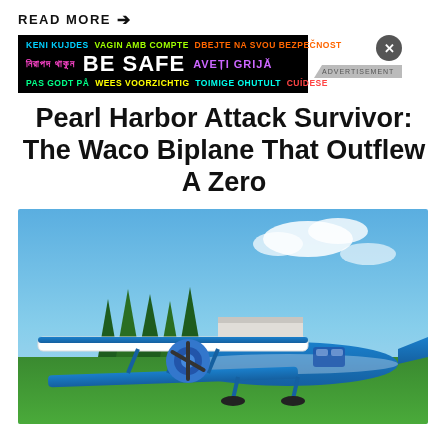READ MORE →
[Figure (other): Advertisement banner with multilingual safety messages: KENI KUJDES, VAGIN AMB COMPTE, DBEJTE NA SVOU BEZPEČNOST, নিরাপদ থাকুন, BE SAFE, AVEȚI GRIJĂ, PAS GODT PÅ, WEES VOORZICHTIG, TOIMIGE OHUTULT, CUÍDESE]
Pearl Harbor Attack Survivor: The Waco Biplane That Outflew A Zero
[Figure (photo): Blue and white Waco biplane on the ground with blue sky, clouds, trees, and green grass in the background]